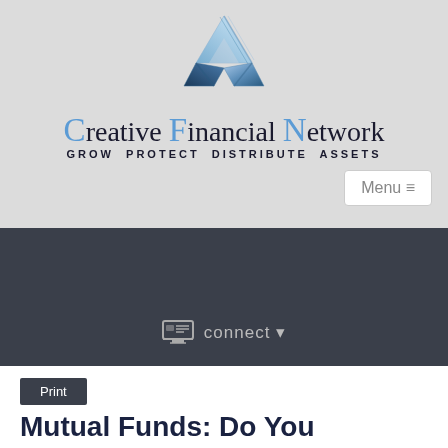[Figure (logo): Creative Financial Network triangular 3D metallic logo — an impossible triangle / Penrose triangle shape in silver-blue metallic finish]
Creative Financial Network
GROW  PROTECT  DISTRIBUTE  ASSETS
Menu ≡
[Figure (other): Dark banner with connect dropdown icon and text]
Print
Mutual Funds: Do You